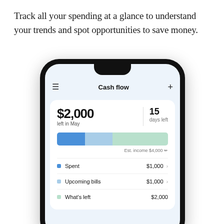Track all your spending at a glance to understand your trends and spot opportunities to save money.
[Figure (screenshot): Mobile app screenshot showing a Cash flow screen with $2,000 left in May, 15 days left, a segmented progress bar (spent/upcoming bills/remaining), Est. income $4,000, and line items: Spent $1,000, Upcoming bills $1,000, What's left $2,000.]